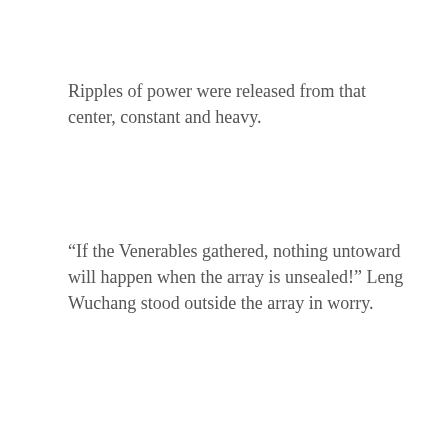Ripples of power were released from that center, constant and heavy.
“If the Venerables gathered, nothing untoward will happen when the array is unsealed!” Leng Wuchang stood outside the array in worry.